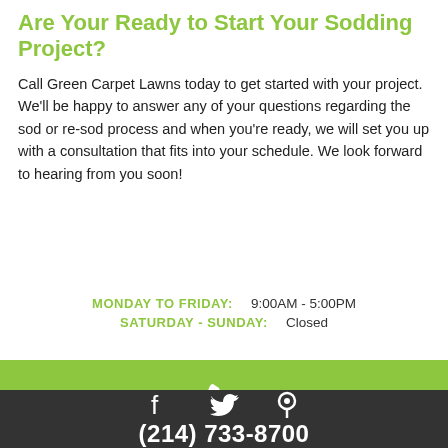Are Your Ready to Start Your Sodding Project?
Call Green Carpet Lawns today to get started with your project. We'll be happy to answer any of your questions regarding the sod or re-sod process and when you're ready, we will set you up with a consultation that fits into your schedule. We look forward to hearing from you soon!
MONDAY TO FRIDAY: 9:00AM - 5:00PM
SATURDAY - SUNDAY: Closed
[Figure (infographic): Green bar with white phone icon]
[Figure (infographic): Dark gray bar with social media icons (Facebook, Twitter, location pin) and phone number (214) 733-8700]